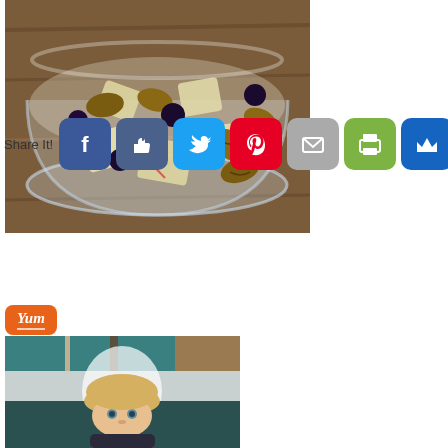[Figure (photo): Bowl of mixed nuts, apple chunks, and dried blueberries in a glass bowl on a wooden surface]
[Figure (infographic): Social share bar with Share It label and buttons: Facebook, Like, Twitter, Pinterest, Email, Print, Crown]
[Figure (infographic): Yum button in orange]
[Figure (photo): Young blonde toddler child looking at camera]